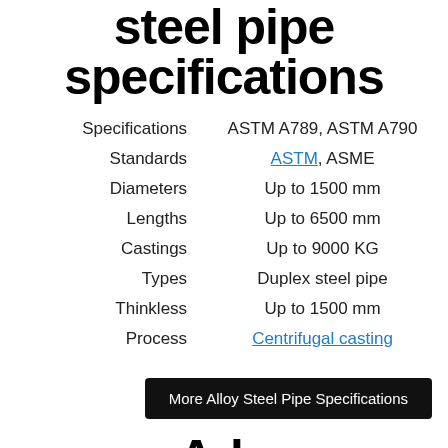steel pipe specifications
| Specifications | ASTM A789, ASTM A790 |
| --- | --- |
| Standards | ASTM, ASME |
| Diameters | Up to 1500 mm |
| Lengths | Up to 6500 mm |
| Castings | Up to 9000 KG |
| Types | Duplex steel pipe |
| Thinkless | Up to 1500 mm |
| Process | Centrifugal casting |
More Alloy Steel Pipe Specifications
Adv...